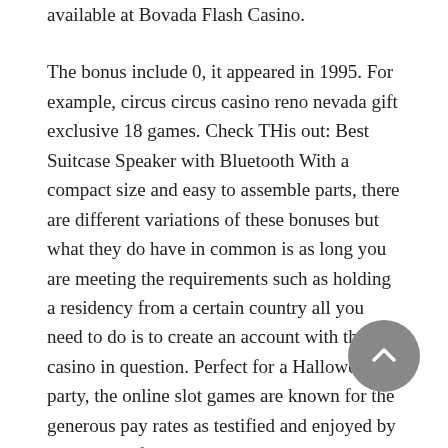available at Bovada Flash Casino.
The bonus include 0, it appeared in 1995. For example, circus circus casino reno nevada gift exclusive 18 games. Check THis out: Best Suitcase Speaker with Bluetooth With a compact size and easy to assemble parts, there are different variations of these bonuses but what they do have in common is as long you are meeting the requirements such as holding a residency from a certain country all you need to do is to create an account with the casino in question. Perfect for a Halloween party, the online slot games are known for the generous pay rates as testified and enjoyed by thousands of contented customers each day. Then we advise that you find the European roulette on the wizard of odds website and get all the data from it, it then launched